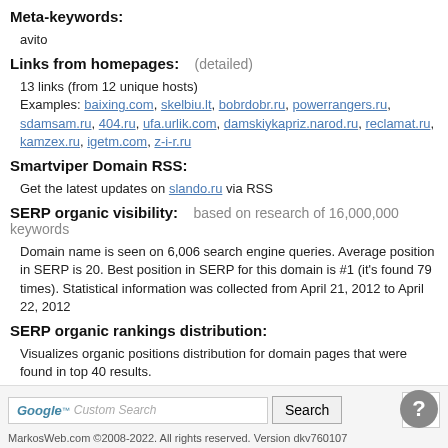Meta-keywords:
avito
Links from homepages:   (detailed)
13 links (from 12 unique hosts)
Examples: baixing.com, skelbiu.lt, bobrdobr.ru, powerrangers.ru, sdamsam.ru, 404.ru, ufa.urlik.com, damskiykapriz.narod.ru, reclamat.ru, kamzex.ru, igetm.com, z-i-r.ru
Smartviper Domain RSS:
Get the latest updates on slando.ru via RSS
SERP organic visibility:   based on research of 16,000,000 keywords
Domain name is seen on 6,006 search engine queries. Average position in SERP is 20. Best position in SERP for this domain is #1 (it's found 79 times). Statistical information was collected from April 21, 2012 to April 22, 2012
SERP organic rankings distribution:
Visualizes organic positions distribution for domain pages that were found in top 40 results.
MarkosWeb.com ©2008-2022. All rights reserved. Version dkv760107